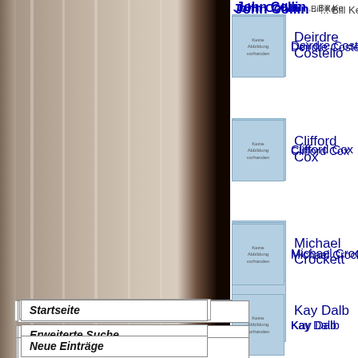Startseite
Erweiterte Suche
Neue Einträge
Ranglisten
Statistiken
Kinostarts
Disc-Area
Web-TV
John Collin ... Bill Ke
Deirdre Costello
Clifford Cox
Michael Crockett
Kay Dalb
Richard Davies
Michael Des Barres
Valerie Douglas
Patrick Durkin